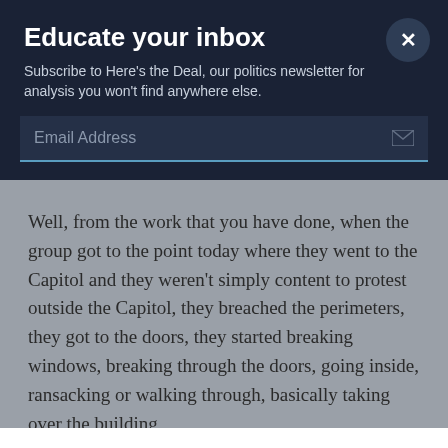Educate your inbox
Subscribe to Here's the Deal, our politics newsletter for analysis you won't find anywhere else.
Email Address
Well, from the work that you have done, when the group got to the point today where they went to the Capitol and they weren't simply content to protest outside the Capitol, they breached the perimeters, they got to the doors, they started breaking windows, breaking through the doors, going inside, ransacking or walking through, basically taking over the building,